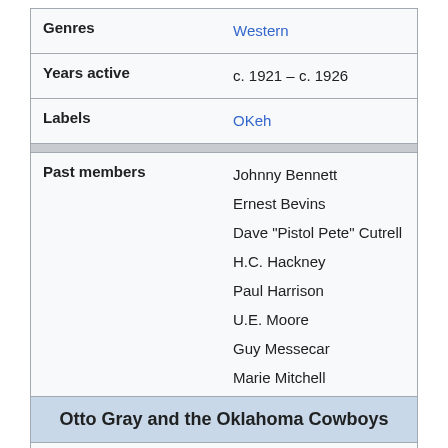| Genres | Western |
| Years active | c. 1921 – c. 1926 |
| Labels | OKeh |
| Past members | Johnny Bennett
Ernest Bevins
Dave "Pistol Pete" Cutrell
H.C. Hackney
Paul Harrison
U.E. Moore
Guy Messecar
Marie Mitchell
Frank Sherrill
J.E. Mainer |
Otto Gray and the Oklahoma Cowboys